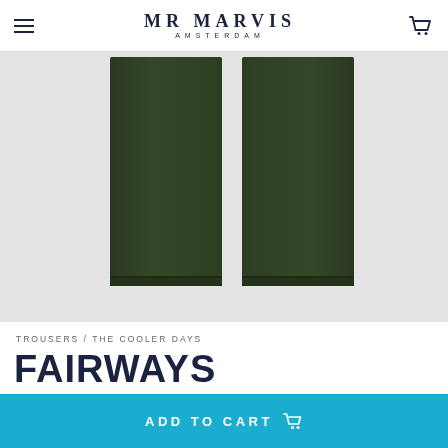MR MARVIS AMSTERDAM
[Figure (photo): Two dark olive/forest green trouser legs shown close-up against a light grey background, likely part of a pair of chinos or trousers.]
TROUSERS / THE COOLER DAYS
FAIRWAYS
For those who hit it straight
€119
ADD TO CART